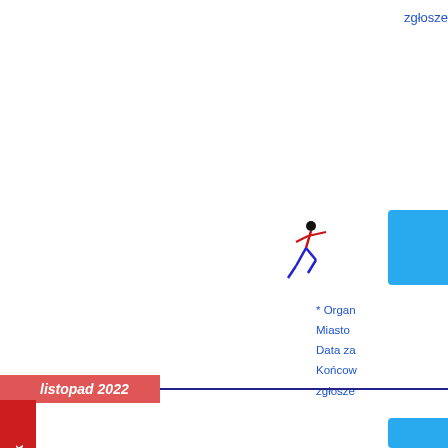zgłosze
[Figure (illustration): Red feedback tab on left side, vertical text reading Feedback]
[Figure (illustration): Running figure icon - person in blue and red running pose]
[Figure (illustration): Blue rounded rectangle box on right side]
* Organ
Miasto
Data za
Końcow
zgłosze
listopad 2022